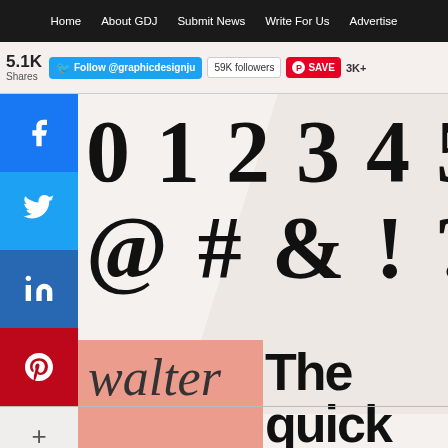Home | About GDJ | Submit News | Write For Us | Advertise
5.1K Shares — Follow @graphicdesignju — 59K followers — SAVE — 3K+
[Figure (screenshot): Social share sidebar buttons: Facebook, Twitter, LinkedIn, Pinterest, plus more (+)]
[Figure (screenshot): Social icons: Twitter, Facebook, Instagram, RSS feed]
0 1 2 3 4 5 6 7 8 9
@ # & ! ? ~
walter
The quick
brown fo